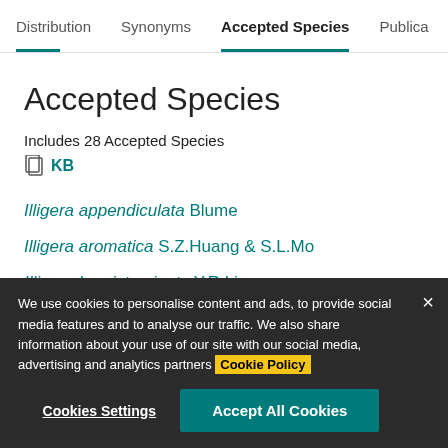Distribution   Synonyms   Accepted Species   Publica
Accepted Species
Includes 28 Accepted Species
KB
Illigera appendiculata Blume
Illigera aromatica S.Z.Huang & S.L.Mo
Illigera brevistaminata Y.R.Li
We use cookies to personalise content and ads, to provide social media features and to analyse our traffic. We also share information about your use of our site with our social media, advertising and analytics partners Cookie Policy
Cookies Settings   Accept All Cookies